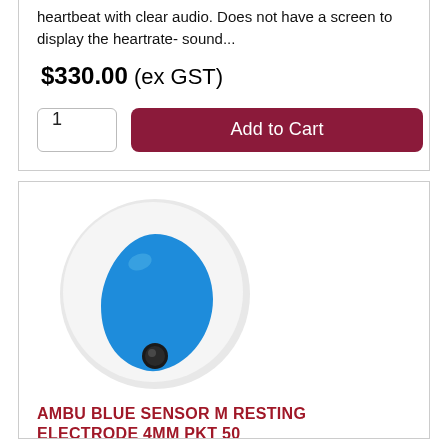heartbeat with clear audio. Does not have a screen to display the heartrate- sound...
$330.00 (ex GST)
1
Add to Cart
[Figure (photo): AMBU Blue Sensor M resting electrode with blue teardrop-shaped snap connector on a round white foam pad, viewed from above.]
AMBU BLUE SENSOR M RESTING ELECTRODE 4MM PKT 50